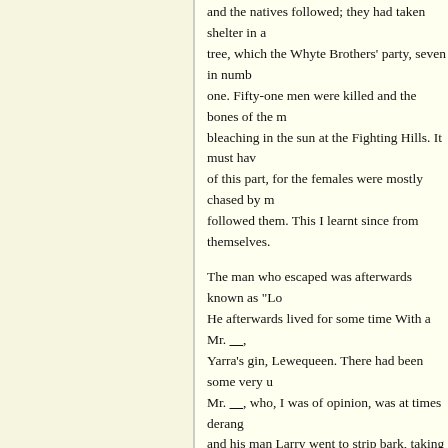and the natives followed; they had taken shelter in a tree, which the Whyte Brothers' party, seven in number, one. Fifty-one men were killed and the bones of the m bleaching in the sun at the Fighting Hills. It must hav of this part, for the females were mostly chased by m followed them. This I learnt since from themselves.
The man who escaped was afterwards known as "Lo He afterwards lived for some time With a Mr. ____, Yarra's gin, Lewequeen. There had been some very u Mr. ____, who, I was of opinion, was at times derang and his man Larry went to strip bark, taking a bulloc with them, about eight miles back on the Adelaide ro soon as they were gone, Lewequeen went away, taki return, and on the third day the shepherd put his floc went out, following the track of the dray, and came o eagles pecking the remains of his skeleton, and at a s been in bed when they were attacked, and a frightful ____ was a very strong man. It was evidently a conce natives, and Lewequeen leaving the shepherd's wife,
Mr. ____, of ____, on the Glenelg run, near me, kept The consequence was, he, like many more, had to se fearfully diseased from these poor creatures; they, of about their gins, and the natives, to be revenged for s